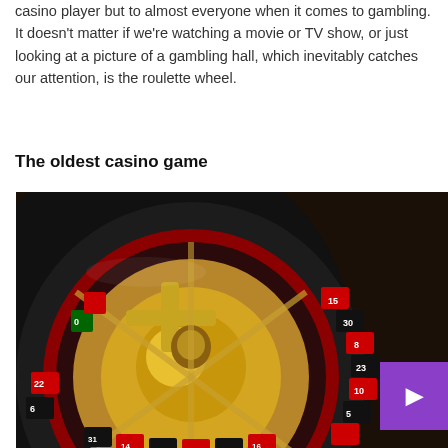casino player but to almost everyone when it comes to gambling. It doesn't matter if we're watching a movie or TV show, or just looking at a picture of a gambling hall, which inevitably catches our attention, is the roulette wheel.
The oldest casino game
[Figure (photo): Close-up photograph of a gold and black roulette wheel with red and black numbered compartments, shot from an angle showing the metallic central hub and surrounding number ring. A purple button with an arrow icon is overlaid in the bottom-right corner.]